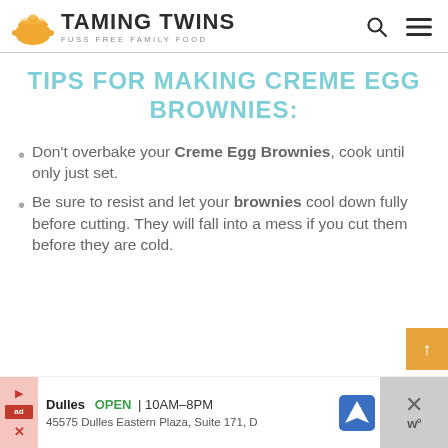TAMING TWINS — FUSS FREE FAMILY FOOD
TIPS FOR MAKING CREME EGG BROWNIES:
Don't overbake your Creme Egg Brownies, cook until only just set.
Be sure to resist and let your brownies cool down fully before cutting. They will fall into a mess if you cut them before they are cold.